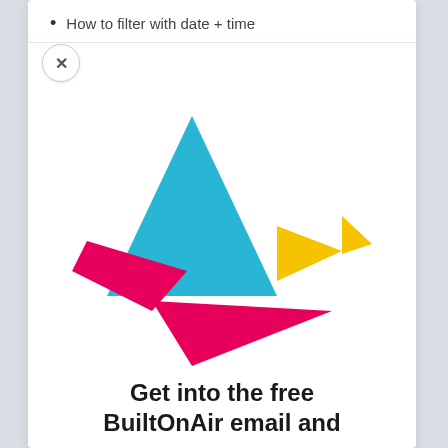How to filter with date + time
[Figure (logo): BuiltOnAir origami bird logo made of geometric tangram-style shapes: a large cyan/blue triangle (body), a magenta/pink parallelogram (left wing), two yellow triangles (right wing), and a magenta/pink large triangle (tail). The overall shape resembles a flying bird made of colorful geometric pieces.]
Get into the free BuiltOnAir email and